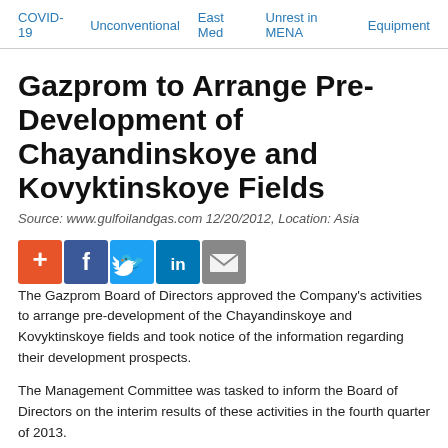COVID-19  Unconventional  East Med  Unrest in MENA  Equipment
Gazprom to Arrange Pre-Development of Chayandinskoye and Kovyktinskoye Fields
Source: www.gulfoilandgas.com 12/20/2012, Location: Asia
[Figure (infographic): Social sharing buttons: plus/add (orange), Facebook (blue), Twitter (light blue), LinkedIn (dark blue), Email (gray)]
The Gazprom Board of Directors approved the Company's activities to arrange pre-development of the Chayandinskoye and Kovyktinskoye fields and took notice of the information regarding their development prospects.
The Management Committee was tasked to inform the Board of Directors on the interim results of these activities in the fourth quarter of 2013.